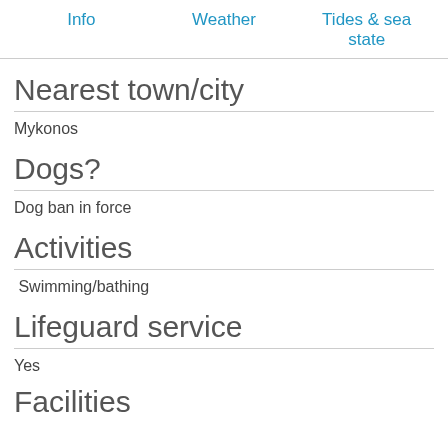Info   Weather   Tides & sea state
Nearest town/city
Mykonos
Dogs?
Dog ban in force
Activities
Swimming/bathing
Lifeguard service
Yes
Facilities